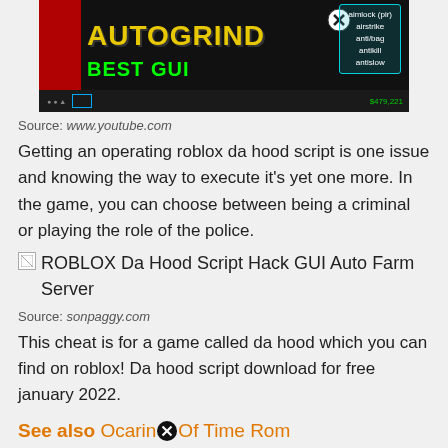[Figure (screenshot): Screenshot of a Roblox game called AUTOGRIND with text 'AUTOGRIND BEST GUI' in yellow/green letters on a dark background, with a menu showing aimlock, airstrike, anti/bag, antikill, antislow options, and a close button.]
Source: www.youtube.com
Getting an operating roblox da hood script is one issue and knowing the way to execute it's yet one more. In the game, you can choose between being a criminal or playing the role of the police.
[Figure (screenshot): Broken image placeholder for ROBLOX Da Hood Script Hack GUI Auto Farm Server]
Source: sonpaggy.com
This cheat is for a game called da hood which you can find on roblox! Da hood script download for free january 2022.
See also Ocarina Of Time Rom